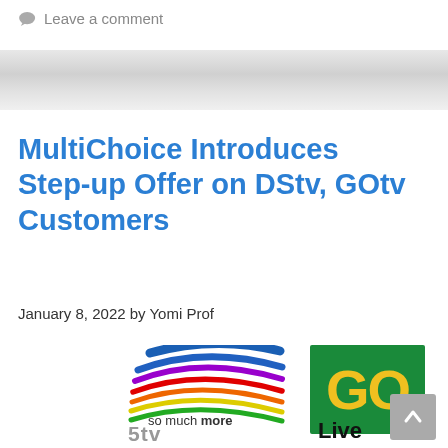Leave a comment
[Figure (illustration): Gray textured banner strip divider]
MultiChoice Introduces Step-up Offer on DStv, GOtv Customers
January 8, 2022 by Yomi Prof
[Figure (logo): DStv logo with rainbow swoosh and 'so much more' tagline alongside GOtv green logo with yellow GO text and 'Live' text below]